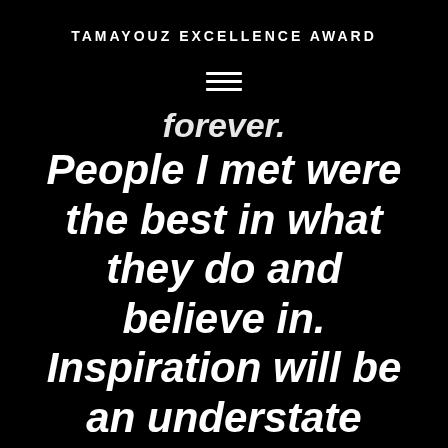TAMAYOUZ EXCELLENCE AWARD
[Figure (other): Hamburger menu icon (three horizontal lines)]
forever. People I met were the best in what they do and believe in. Inspiration will be an understate